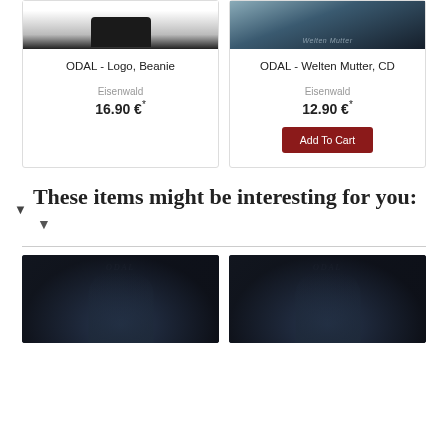[Figure (photo): Product image for ODAL Logo Beanie - partial view of dark item on white background]
[Figure (photo): Product image for ODAL Welten Mutter CD - dark ocean/storm scene with Welten Mutter text overlay]
ODAL - Logo, Beanie
Eisenwald
16.90 €*
ODAL - Welten Mutter, CD
Eisenwald
12.90 €*
Add To Cart
These items might be interesting for you:
[Figure (photo): Album artwork showing dark fantasy figure - ODAL related product]
[Figure (photo): Album artwork showing dark fantasy figure - ODAL related product (duplicate)]